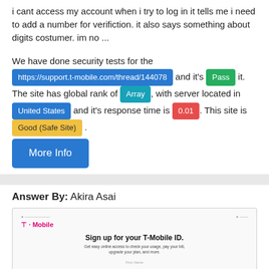i cant access my account when i try to log in it tells me i need to add a number for verifiction. it also says something about digits costumer. im no ...
We have done security tests for the https://support.t-mobile.com/thread/144078 and it's Pass it. The site has global rank of Array, with server located in United States and it's response time is 0.01. This site is Good (Safe Site). More Info
Answer By: Akira Asai
[Figure (screenshot): Screenshot of T-Mobile sign up page with 'Sign up for your T-Mobile ID.' heading and form fields for First Name and Last Name]